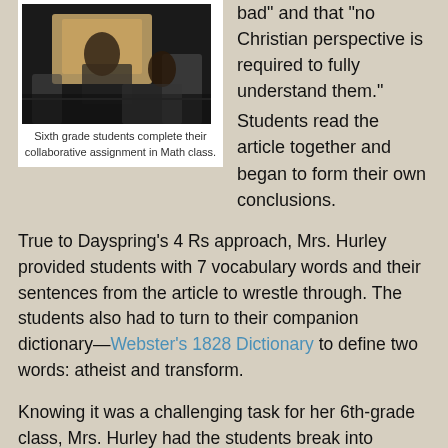[Figure (photo): Sixth grade students sitting at desks completing a collaborative assignment in Math class, viewed from above at an angle.]
Sixth grade students complete their collaborative assignment in Math class.
bad" and that "no Christian perspective is required to fully understand them." Students read the article together and began to form their own conclusions.
True to Dayspring's 4 Rs approach, Mrs. Hurley provided students with 7 vocabulary words and their sentences from the article to wrestle through. The students also had to turn to their companion dictionary—Webster's 1828 Dictionary to define two words: atheist and transform.
Knowing it was a challenging task for her 6th-grade class, Mrs. Hurley had the students break into groups of 3 or 4, and read the questions that she had provided to them. After that, the students took turns reading the article to each other. Following each paragraph, students paused to